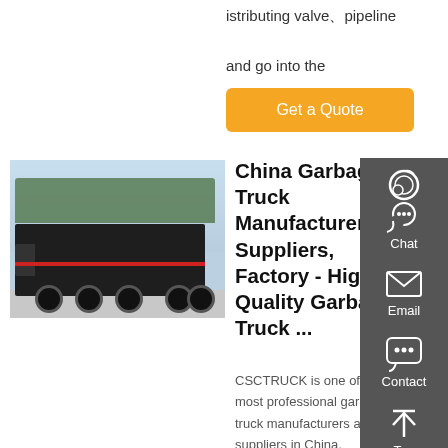istributing valve&#12289;pipeline and go into the
[Figure (screenshot): Orange 'Get a Quote' button]
[Figure (photo): Garbage truck - a black heavy-duty truck with flatbed container, parked outdoors with trees in background]
China Garbage Truck Manufacturers, Suppliers, Factory - High Quality Garbage Truck ...
CSCTRUCK is one of the most professional garbage truck manufacturers and suppliers in China, specialized in providing
[Figure (infographic): Right sidebar with dark gray background containing Chat (headset icon), Email (envelope icon), Contact (speech bubble icon), and Top (arrow up icon) navigation items with red dividers between them]